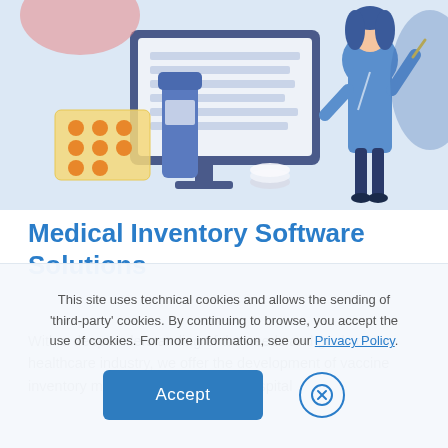[Figure (illustration): Medical illustration showing a computer monitor with document lines, medication blister pack with orange pills, a blue pill bottle, white tablets, and a healthcare professional (blue coat, holding a pen) against a light blue background.]
Medical Inventory Software Solutions
With a deep understanding of the needs and goals of the healthcare industry, we offer the development of vaccine inventory management software, hospital
This site uses technical cookies and allows the sending of 'third-party' cookies. By continuing to browse, you accept the use of cookies. For more information, see our Privacy Policy.